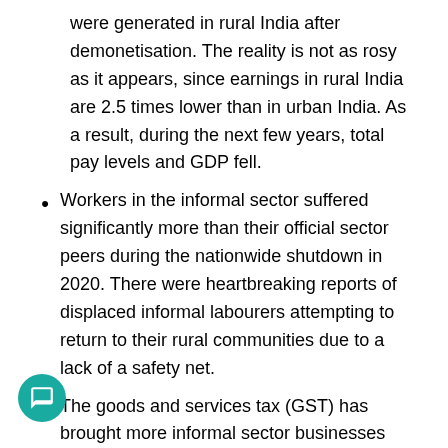were generated in rural India after demonetisation. The reality is not as rosy as it appears, since earnings in rural India are 2.5 times lower than in urban India. As a result, during the next few years, total pay levels and GDP fell.
Workers in the informal sector suffered significantly more than their official sector peers during the nationwide shutdown in 2020. There were heartbreaking reports of displaced informal labourers attempting to return to their rural communities due to a lack of a safety net.
The goods and services tax (GST) has brought more informal sector businesses into the tax net and will continue to drive the economy toward formalisation.
Initiatives taken